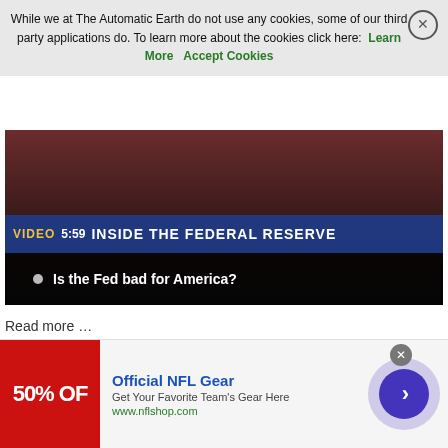While we at The Automatic Earth do not use any cookies, some of our third party applications do. To learn more about the cookies click here: Learn More  Accept Cookies
[Figure (screenshot): Video thumbnail showing 'INSIDE THE FEDERAL RESERVE' with title 'Is the Fed bad for America?' and timestamp 5:59]
Read more …
“The Republican Party is Norma Desmond’s house in Sunset Boulevard, starring Donald Trump as Max the Butler, working extra-hard to keep the illusions of yesteryear going.”
[Figure (infographic): Advertisement for Official NFL Gear - 50% OFF, Get Your Favorite Team's Gear Here, www.nflshop.com]